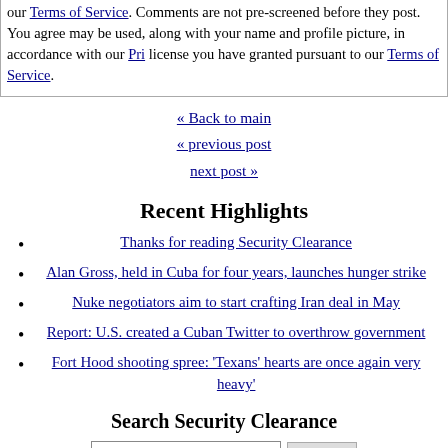our Terms of Service. Comments are not pre-screened before they post. You agree may be used, along with your name and profile picture, in accordance with our Pri license you have granted pursuant to our Terms of Service.
« Back to main
« previous post
next post »
Recent Highlights
Thanks for reading Security Clearance
Alan Gross, held in Cuba for four years, launches hunger strike
Nuke negotiators aim to start crafting Iran deal in May
Report: U.S. created a Cuban Twitter to overthrow government
Fort Hood shooting spree: 'Texans' hearts are once again very heavy'
Search Security Clearance